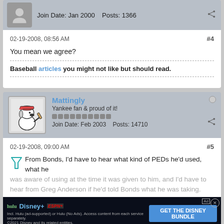Join Date: Jan 2000   Posts: 1366
02-19-2008, 08:56 AM
#4
You mean we agree?
Baseball articles you might not like but should read.
Mattingly
Yankee fan & proud of it!
Join Date: Feb 2003   Posts: 14710
02-19-2008, 09:00 AM
#5
From Bonds, I'd have to hear what kind of PEDs he'd used, what he was aware of using at the time it was given to him, and I'd have to hear from Greg Anderson if he'd told Bonds what he was taking.
Then I'd
[Figure (infographic): Disney Bundle advertisement showing Hulu, Disney+, ESPN+ logos with GET THE DISNEY BUNDLE call to action]
From Clemens, I'd have to hear what kind of PEDs he'd...